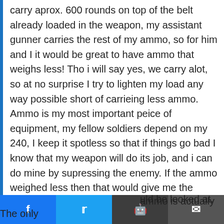carry aprox. 600 rounds on top of the belt already loaded in the weapon, my assistant gunner carries the rest of my ammo, so for him and I it would be great to have ammo that weighs less! Tho i will say yes, we carry alot, so at no surprise I try to lighten my load any way possible short of carrieing less ammo. Ammo is my most important peice of equipment, my fellow soldiers depend on my 240, I keep it spotless so that if things go bad I know that my weapon will do its job, and i can do mine by supressing the enemy. If the ammo weighed less then that would give me the ability to carry more ammo. So beleive it ...ammo is actually ...uld be looked at. The only